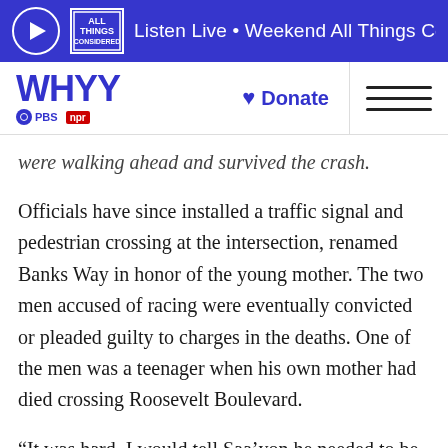Listen Live • Weekend All Things Considered
WHYY PBS NPR | Donate
were walking ahead and survived the crash.
Officials have since installed a traffic signal and pedestrian crossing at the intersection, renamed Banks Way in honor of the young mother. The two men accused of racing were eventually convicted or pleaded guilty to charges in the deaths. One of the men was a teenager when his own mother had died crossing Roosevelt Boulevard.
“It was hard. I would tell Saa’yon he needed to be strong, and I remember there was this once he just stomped his foot and said no,” Byrd said. “He told me he was tired of being strong and he just wanted his mom and his brothers